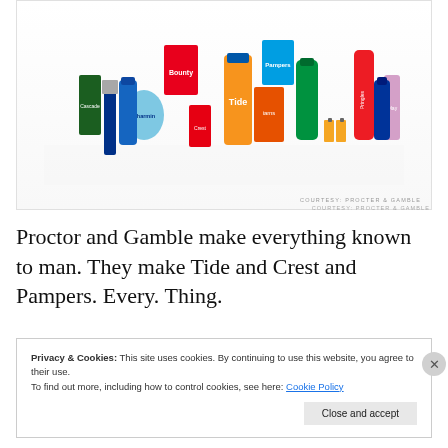[Figure (photo): Array of Procter & Gamble consumer products including Tide, Charmin, Bounty, Pampers, Crest, Gillette, Duracell, Olay, and other brand products displayed together]
COURTESY: PROCTER & GAMBLE
Proctor and Gamble make everything known to man. They make Tide and Crest and Pampers. Every. Thing.
Privacy & Cookies: This site uses cookies. By continuing to use this website, you agree to their use.
To find out more, including how to control cookies, see here: Cookie Policy